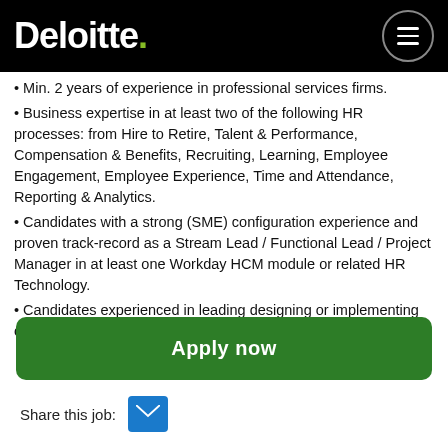Deloitte.
Min. 2 years of experience in professional services firms.
Business expertise in at least two of the following HR processes: from Hire to Retire, Talent & Performance, Compensation & Benefits, Recruiting, Learning, Employee Engagement, Employee Experience, Time and Attendance, Reporting & Analytics.
Candidates with a strong (SME) configuration experience and proven track-record as a Stream Lead / Functional Lead / Project Manager in at least one Workday HCM module or related HR Technology.
Candidates experienced in leading designing or implementing cloud-based HR technologies modules and /
Apply now
Share this job: